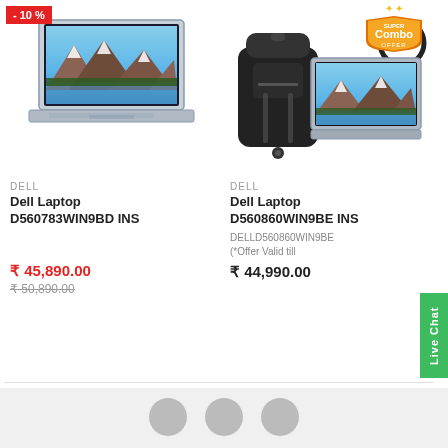[Figure (photo): Dell laptop (Inspiron) product photo, silver/blue color, showing mountain landscape wallpaper on screen]
[Figure (photo): Dell laptop combo offer: laptop, black backpack, and headphones shown together with Super Combo Offer badge]
- 10 %
DELL
Dell Laptop D560783WIN9BD INS
₹ 45,890.00
₹ 50,890.00
DELL
Dell Laptop D560860WIN9BE INS
DELLD560860WIN9BE
(*Offer Valid till
₹ 44,990.00
Live Chat